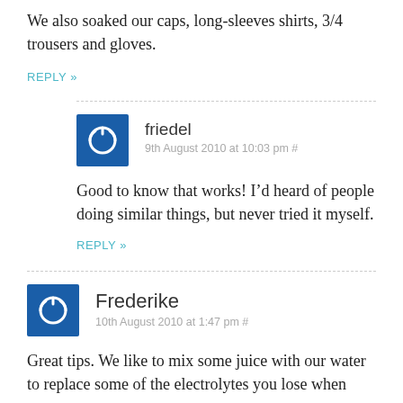We also soaked our caps, long-sleeves shirts, 3/4 trousers and gloves.
REPLY »
friedel
9th August 2010 at 10:03 pm #
Good to know that works! I'd heard of people doing similar things, but never tried it myself.
REPLY »
Frederike
10th August 2010 at 1:47 pm #
Great tips. We like to mix some juice with our water to replace some of the electrolytes you lose when